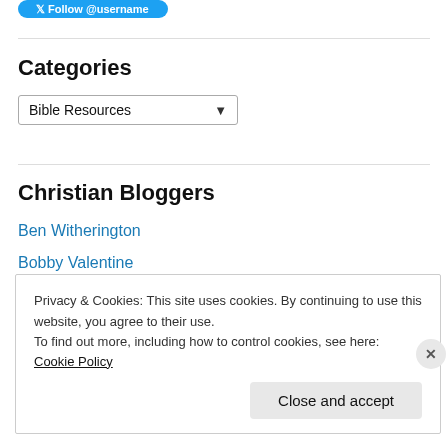[Figure (other): Blue Twitter follow button at top]
Categories
[Figure (other): Dropdown selector showing 'Bible Resources']
Christian Bloggers
Ben Witherington
Bobby Valentine
Brian Nicklaus
Dan Bouchelle
Privacy & Cookies: This site uses cookies. By continuing to use this website, you agree to their use.
To find out more, including how to control cookies, see here: Cookie Policy
Close and accept